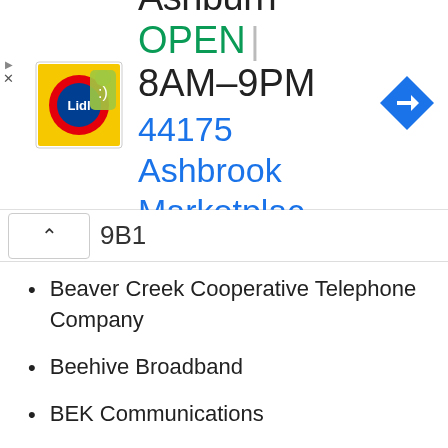[Figure (advertisement): Lidl store ad banner showing Ashburn location, OPEN 8AM-9PM, address 44175 Ashbrook Marketplac..., with navigation arrow icon]
9B1
Beaver Creek Cooperative Telephone Company
Beehive Broadband
BEK Communications
Belmont Telephone Company
Ben Lomand Connect
Benkelman Telephone Company
Beresford Municipal Telephone
Bergen Telephone Company